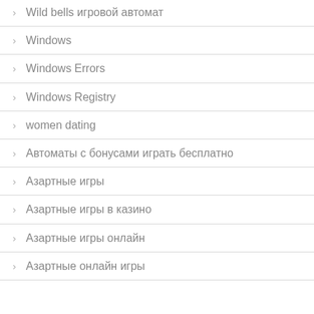Wild bells игровой автомат
Windows
Windows Errors
Windows Registry
women dating
Автоматы с бонусами играть бесплатно
Азартные игры
Азартные игры в казино
Азартные игры онлайн
Азартные онлайн игры